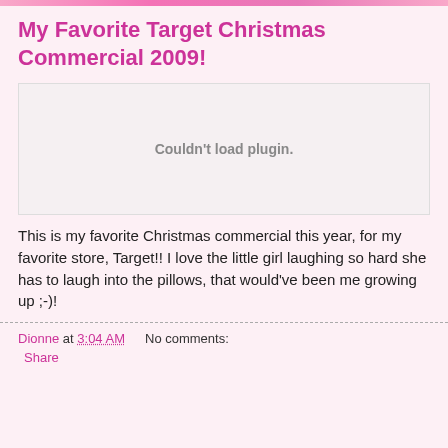My Favorite Target Christmas Commercial 2009!
[Figure (other): Embedded video plugin area showing 'Couldn't load plugin.' message]
This is my favorite Christmas commercial this year, for my favorite store, Target!! I love the little girl laughing so hard she has to laugh into the pillows, that would've been me growing up ;-)!
Dionne at 3:04 AM    No comments:    Share